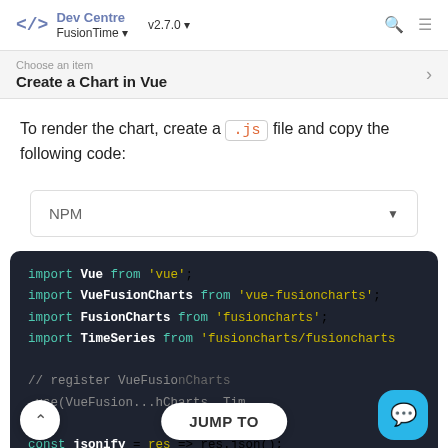</> Dev Centre FusionTime ▾  v2.7.0 ▾
Choose an item
Create a Chart in Vue
To render the chart, create a .js file and copy the following code:
NPM
[Figure (screenshot): Code block showing JavaScript import statements: import Vue from 'vue'; import VueFusionCharts from 'vue-fusioncharts'; import FusionCharts from 'fusioncharts'; import TimeSeries from 'fusioncharts/fusioncharts...'; // register VueFusionCharts; .use(VueFusion... hCharts, Tim...; const jsonify = res => res.json();]